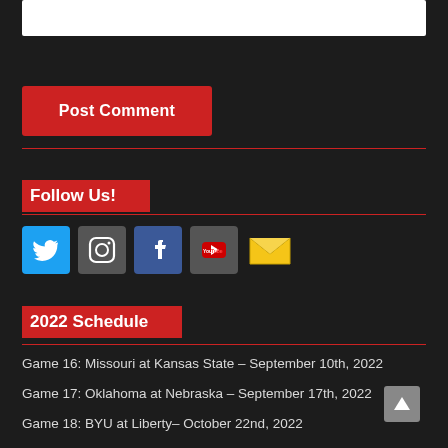[Figure (other): White input box (comment text area) at top of page]
Post Comment
Follow Us!
[Figure (other): Row of social media icons: Twitter, Instagram, Facebook, YouTube, Email]
2022 Schedule
Game 16: Missouri at Kansas State – September 10th, 2022
Game 17: Oklahoma at Nebraska – September 17th, 2022
Game 18: BYU at Liberty– October 22nd, 2022